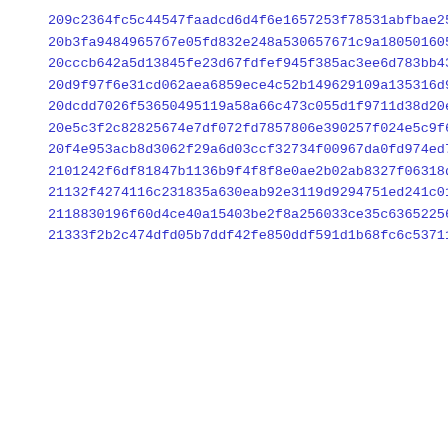209c2364fc5c44547faadcd6d4f6e1657253f78531abfbae2507e8bf09a8f
20b3fa94849657б7e05fd832e248a530657671c9a1805016051873d762438
20cccb642a5d13845fe23d67fdfef945f385ac3ee6d783bb435e313e5ad02
20d9f97f6e31cd062aea6859ece4c52b149629109a135316d9569d4540ca2
20dcdd7026f53650495119a58a66c473c055d1f9711d38d20ef3ef7097b40
20e5c3f2c82825674e7df072fd7857806e390257f024e5c9f6f5314b05674
20f4e953acb8d3062f29a6d03ccf32734f00967da0fd974ed7c7305d78f4d
2101242f6df81847b1136b9f4f8f8e0ae2b02ab8327f06318de6422cd0677
21132f4274116c231835a630eab92e3119d9294751ed241c011d9d5e122fb
2118830196f60d4ce40a15403be2f8a256033ce35c636522567324d2ff4c2
21333f2b2c474dfd05b7ddf42fe850ddf591d1b68fc6c53711d030d4d2c5f